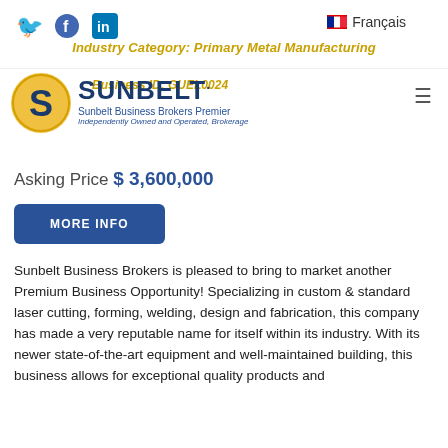Industry Category: Primary Metal Manufacturing
[Figure (logo): Sunbelt Business Brokers Premier logo with circular S emblem, company name, and taglines 'Sunbelt Business Brokers Premier' and 'Independently Owned and Operated, Brokerage']
Business ID: GUEL0024
Asking Price $ 3,600,000
MORE INFO
Sunbelt Business Brokers is pleased to bring to market another Premium Business Opportunity! Specializing in custom & standard laser cutting, forming, welding, design and fabrication, this company has made a very reputable name for itself within its industry. With its newer state-of-the-art equipment and well-maintained building, this business allows for exceptional quality products and